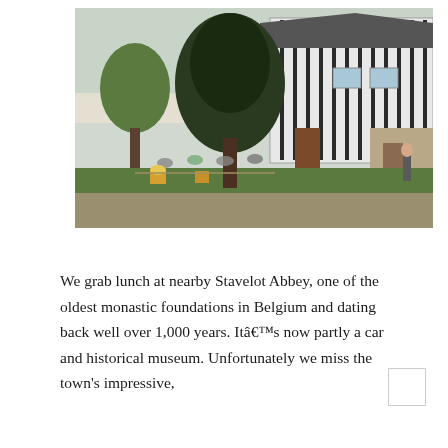[Figure (photo): Outdoor dining scene at Stavelot Abbey. People seated at tables outside a building with vertical black-and-white striped siding, surrounded by trees. A large dark tree is prominent in the center-background. Stone buildings visible on the right side.]
We grab lunch at nearby Stavelot Abbey, one of the oldest monastic foundations in Belgium and dating back well over 1,000 years. Itâ€™s now partly a car and historical museum. Unfortunately we miss the town's impressive,